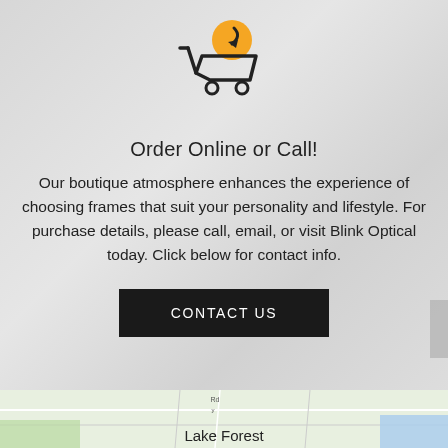[Figure (illustration): Shopping cart icon with a gold coin/circle above it and a downward arrow, black line drawing on light gray blurred background]
Order Online or Call!
Our boutique atmosphere enhances the experience of choosing frames that suit your personality and lifestyle. For purchase details, please call, email, or visit Blink Optical today. Click below for contact info.
CONTACT US
[Figure (map): Google Maps partial view showing Lake Forest area with street map]
Lake Forest